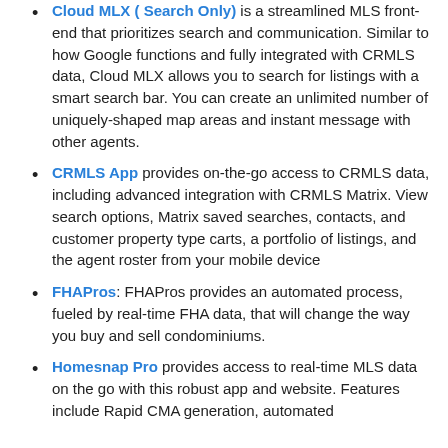Cloud MLX ( Search Only) is a streamlined MLS front-end that prioritizes search and communication. Similar to how Google functions and fully integrated with CRMLS data, Cloud MLX allows you to search for listings with a smart search bar. You can create an unlimited number of uniquely-shaped map areas and instant message with other agents.
CRMLS App provides on-the-go access to CRMLS data, including advanced integration with CRMLS Matrix. View search options, Matrix saved searches, contacts, and customer property type carts, a portfolio of listings, and the agent roster from your mobile device
FHAPros: FHAPros provides an automated process, fueled by real-time FHA data, that will change the way you buy and sell condominiums.
Homesnap Pro provides access to real-time MLS data on the go with this robust app and website. Features include Rapid CMA generation, automated